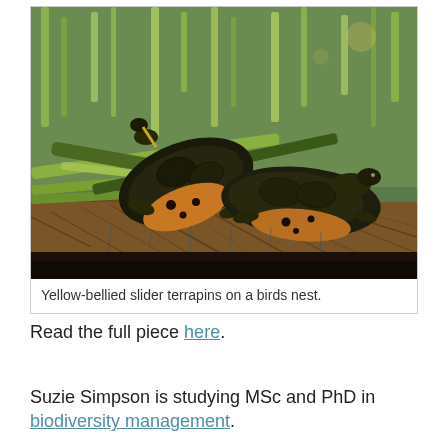[Figure (photo): Two yellow-bellied slider terrapins (turtles) basking on a birds nest made of reeds and plant debris, surrounded by broken green reeds and vegetation.]
Yellow-bellied slider terrapins on a birds nest.
Read the full piece here.
Suzie Simpson is studying MSc and PhD in biodiversity management.